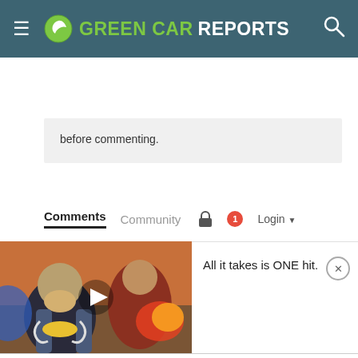Green Car Reports
before commenting.
Comments  Community  Login
[Figure (screenshot): Video thumbnail showing animated fantasy game characters, partially visible, with a play button overlay]
All it takes is ONE hit.